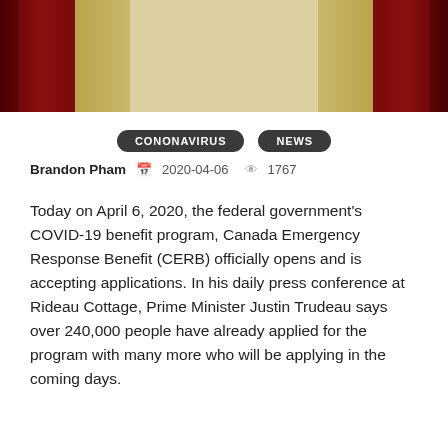[Figure (photo): Photo banner of a podium/stage with red curtains on the sides and beige/gold panels in the center]
CONONAVIRUS
NEWS
Brandon Pham  2020-04-06  1767
Today on April 6, 2020, the federal government's COVID-19 benefit program, Canada Emergency Response Benefit (CERB) officially opens and is accepting applications. In his daily press conference at Rideau Cottage, Prime Minister Justin Trudeau says over 240,000 people have already applied for the program with many more who will be applying in the coming days.